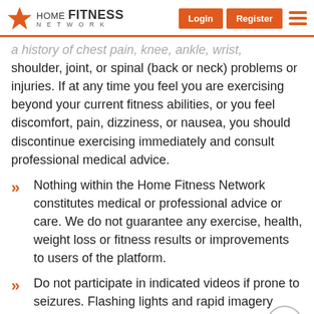HOME FITNESS NETWORK — Login | Register
a history of chest pain, knee, ankle, wrist, shoulder, joint, or spinal (back or neck) problems or injuries. If at any time you feel you are exercising beyond your current fitness abilities, or you feel discomfort, pain, dizziness, or nausea, you should discontinue exercising immediately and consult professional medical advice.
Nothing within the Home Fitness Network constitutes medical or professional advice or care. We do not guarantee any exercise, health, weight loss or fitness results or improvements to users of the platform.
Do not participate in indicated videos if prone to seizures. Flashing lights and rapid imagery changes may be used. Motion sickness may be